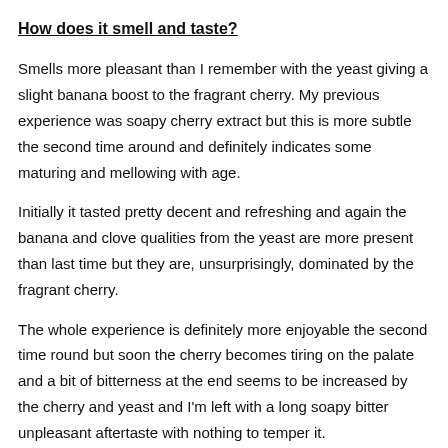How does it smell and taste?
Smells more pleasant than I remember with the yeast giving a slight banana boost to the fragrant cherry. My previous experience was soapy cherry extract but this is more subtle the second time around and definitely indicates some maturing and mellowing with age.
Initially it tasted pretty decent and refreshing and again the banana and clove qualities from the yeast are more present than last time but they are, unsurprisingly, dominated by the fragrant cherry.
The whole experience is definitely more enjoyable the second time round but soon the cherry becomes tiring on the palate and a bit of bitterness at the end seems to be increased by the cherry and yeast and I'm left with a long soapy bitter unpleasant aftertaste with nothing to temper it.
When should I drink it?
At breakfast with some salty thick cut bacon or a fresh summer fruit